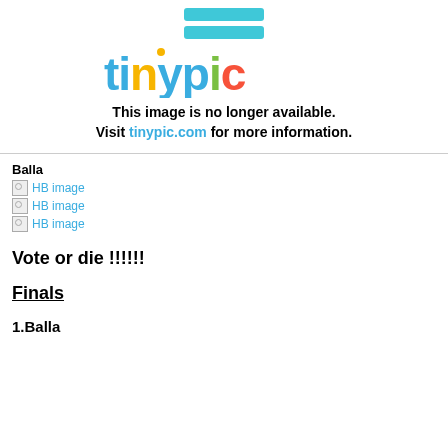[Figure (logo): Tinypic 'image no longer available' placeholder showing the Tinypic logo with two horizontal bars icon, colorful 'tinypic' text logo, and the message 'This image is no longer available. Visit tinypic.com for more information.']
Balla
[Figure (other): Broken image placeholder labeled 'HB image']
[Figure (other): Broken image placeholder labeled 'HB image']
[Figure (other): Broken image placeholder labeled 'HB image']
Vote or die !!!!!!
Finals
1.Balla